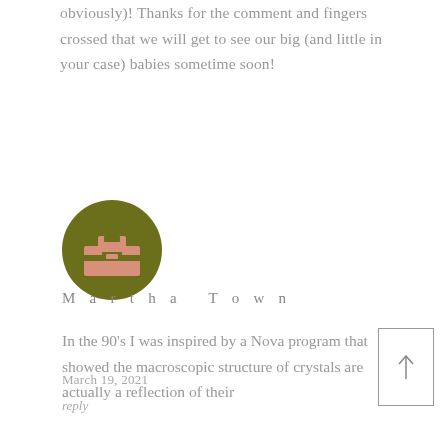obviously)! Thanks for the comment and fingers crossed that we will get to see our big (and little in your case) babies sometime soon!
[Figure (illustration): Circular avatar icon with olive/dark green background and pixelated briefcase/toolbox icon in salmon/peach color]
March 19, 2021
reply
Martha Town
In the 90's I was inspired by a Nova program that showed the macroscopic structure of crystals are actually a reflection of their